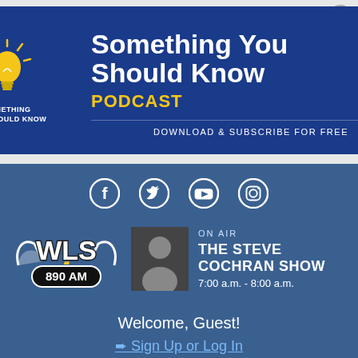[Figure (illustration): Advertisement banner for 'Something You Should Know' podcast. Left side shows a lightbulb graphic and 'SOMETHING YOU SHOULD KNOW' text on blue background. Right side shows 'Something You Should Know PODCAST' in white/yellow text, with 'DOWNLOAD & SUBSCRIBE FOR FREE' at bottom.]
[Figure (infographic): Social media icons row: Facebook, Twitter, YouTube, Instagram in white on blue background.]
[Figure (logo): WLS 890 AM radio station logo in black and white with wing design.]
ON AIR
THE STEVE COCHRAN SHOW
7:00 a.m. - 8:00 a.m.
Welcome, Guest!
➨ Sign Up or Log In
-- Navigation --